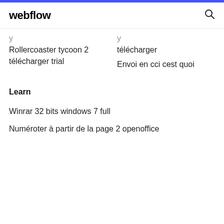webflow
Rollercoaster tycoon 2 télécharger trial
télécharger
Envoi en cci cest quoi
Learn
Winrar 32 bits windows 7 full
Numéroter à partir de la page 2 openoffice